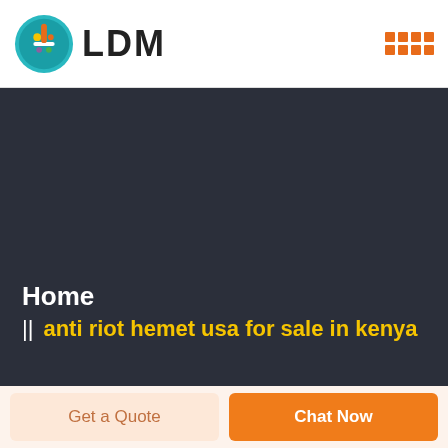[Figure (logo): LDM logo with colorful circular icon and bold LDM text]
[Figure (other): Orange dot grid menu icon in top right corner]
Home
|| anti riot hemet usa for sale in kenya
Get a Quote
Chat Now